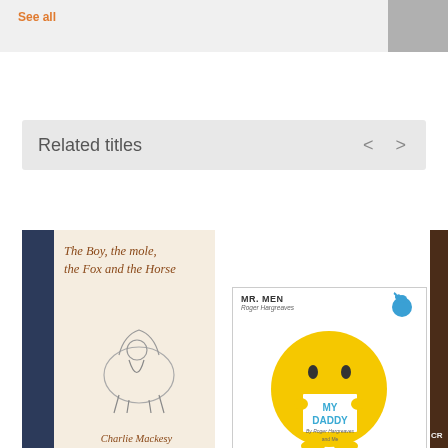See all
Related titles
[Figure (illustration): Book cover: The Boy, the Mole, the Fox and the Horse by Charlie Mackesy. Cream background with handwritten-style title in brown/rust color and a line drawing illustration of figures.]
[Figure (illustration): Book cover: Mr. Men My Daddy by Roger Hargreaves. White background with yellow Mr. Happy smiley face character holding a sign saying MY DADDY, with a small blue candy in top right.]
[Figure (photo): Partial book cover visible on the right edge, dark brown background with partial text CR visible at bottom.]